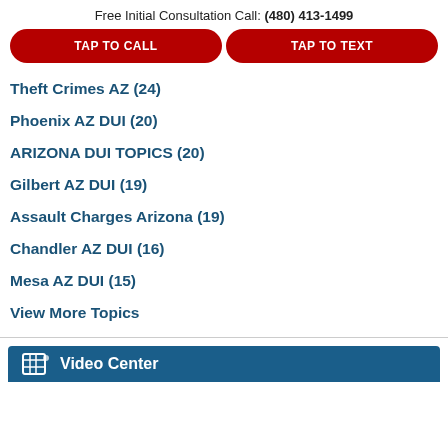Free Initial Consultation Call: (480) 413-1499
TAP TO CALL
TAP TO TEXT
Theft Crimes AZ (24)
Phoenix AZ DUI (20)
ARIZONA DUI TOPICS (20)
Gilbert AZ DUI (19)
Assault Charges Arizona (19)
Chandler AZ DUI (16)
Mesa AZ DUI (15)
View More Topics
Video Center